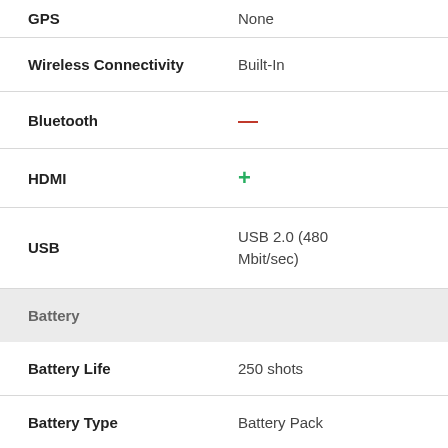| Specification | Value |
| --- | --- |
| GPS | None |
| Wireless Connectivity | Built-In |
| Bluetooth | — |
| HDMI | + |
| USB | USB 2.0 (480 Mbit/sec) |
| Battery |  |
| Battery Life | 250 shots |
| Battery Type | Battery Pack |
| Battery Model | NB-6LH |
| Physical |  |